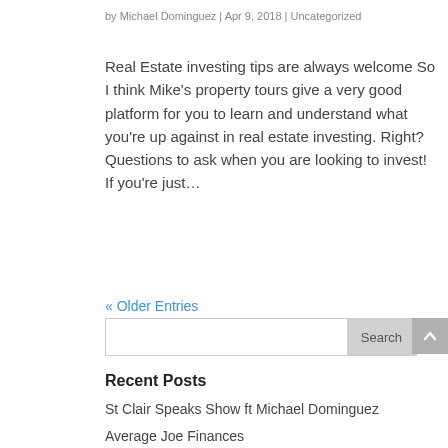by Michael Dominguez | Apr 9, 2018 | Uncategorized
Real Estate investing tips are always welcome So I think Mike’s property tours give a very good platform for you to learn and understand what you’re up against in real estate investing. Right? Questions to ask when you are looking to invest! If you’re just…
« Older Entries
Search
Recent Posts
St Clair Speaks Show ft Michael Dominguez
Average Joe Finances